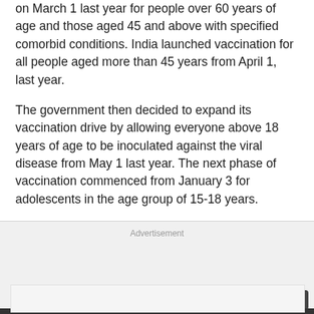on March 1 last year for people over 60 years of age and those aged 45 and above with specified comorbid conditions. India launched vaccination for all people aged more than 45 years from April 1, last year.
The government then decided to expand its vaccination drive by allowing everyone above 18 years of age to be inoculated against the viral disease from May 1 last year. The next phase of vaccination commenced from January 3 for adolescents in the age group of 15-18 years.
Advertisement